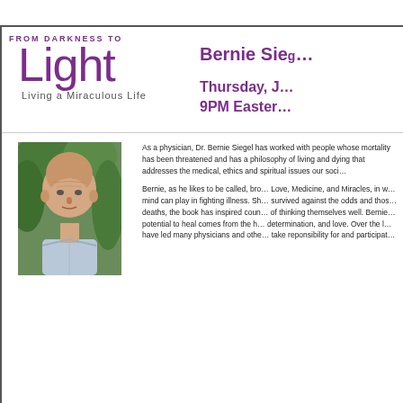[Figure (logo): From Darkness to Light: Living a Miraculous Life logo with purple text]
Bernie Siegel
Thursday, J...
9PM Easter...
[Figure (photo): Portrait photo of Dr. Bernie Siegel, a bald older man in a light blue shirt, outdoors with green foliage background]
As a physician, Dr. Bernie Siegel has worked with people whose mortality has been threatened and has a philosophy of living and dying that addresses the medical, ethics and spiritual issues our society...
Bernie, as he likes to be called, broke ground with Love, Medicine, and Miracles, in which he explored the mind can play in fighting illness. Sharing stories of survived against the odds and those who choose their deaths, the book has inspired countless people in thinking themselves well. Bernie believes that the potential to heal comes from the heart, will, dedication, determination, and love. Over the last 20 years, Bernie have led many physicians and others to take responsibility for and participate...